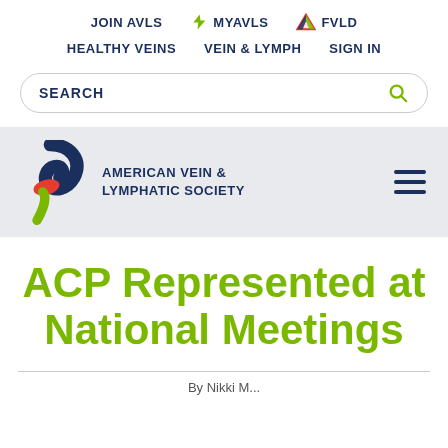JOIN AVLS   myAVLS   FVLD   HEALTHY VEINS   VEIN & LYMPH   SIGN IN
[Figure (screenshot): Search bar with SEARCH text and magnifying glass icon]
[Figure (logo): American Vein & Lymphatic Society logo with colorful swoosh icon and navy text, plus hamburger menu icon]
ACP Represented at National Meetings
By Nikki M...